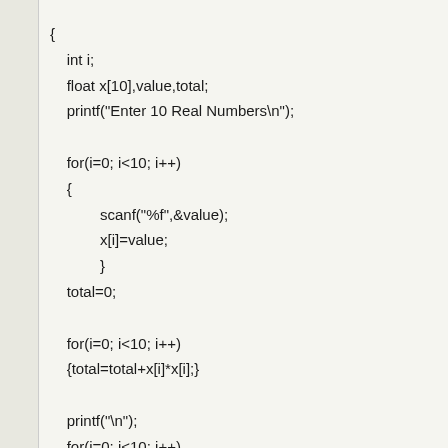{
    int i;
    float x[10],value,total;
    printf("Enter 10 Real Numbers\n");

    for(i=0; i<10; i++)
    {
            scanf("%f",&value);
            x[i]=value;
            }
    total=0;

    for(i=0; i<10; i++)
    {total=total+x[i]*x[i];}

    printf("\n");
    for(i=0; i<10; i++)
    {printf("x[%d]=%f\n",i,x[i]);}
    printf("\ntotal=%f\n",total);